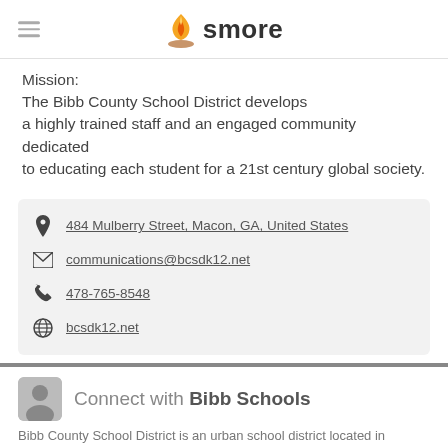smore
Mission:
The Bibb County School District develops a highly trained staff and an engaged community dedicated to educating each student for a 21st century global society.
484 Mulberry Street, Macon, GA, United States
communications@bcsdk12.net
478-765-8548
bcsdk12.net
Connect with Bibb Schools
Bibb County School District is an urban school district located in Macon, Georgia, educating approximately 25,000 students each year.
Follow Bibb Schools